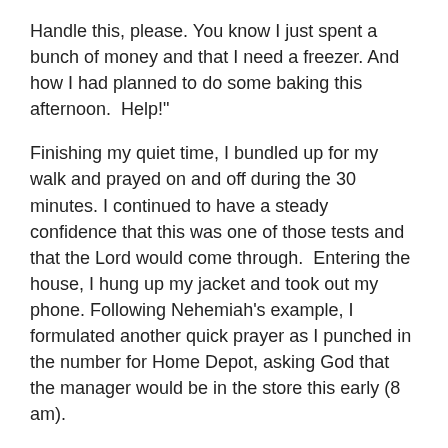Handle this, please. You know I just spent a bunch of money and that I need a freezer. And how I had planned to do some baking this afternoon.  Help!"
Finishing my quiet time, I bundled up for my walk and prayed on and off during the 30 minutes. I continued to have a steady confidence that this was one of those tests and that the Lord would come through.  Entering the house, I hung up my jacket and took out my phone. Following Nehemiah’s example, I formulated another quick prayer as I punched in the number for Home Depot, asking God that the manager would be in the store this early (8 am).
He was!  But first I had to go through customer service.  I really hadn’t wanted to explain the situation to the gal on phone duty, but she asked before connecting me to the